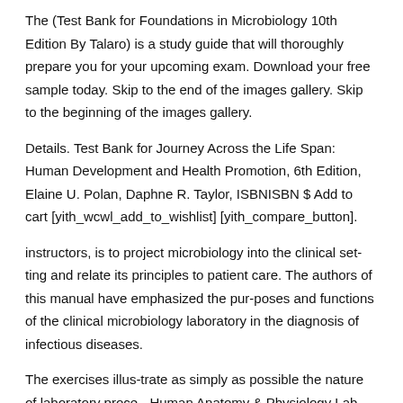The (Test Bank for Foundations in Microbiology 10th Edition By Talaro) is a study guide that will thoroughly prepare you for your upcoming exam. Download your free sample today. Skip to the end of the images gallery. Skip to the beginning of the images gallery.
Details. Test Bank for Journey Across the Life Span: Human Development and Health Promotion, 6th Edition, Elaine U. Polan, Daphne R. Taylor, ISBNISBN $ Add to cart [yith_wcwl_add_to_wishlist] [yith_compare_button].
instructors, is to project microbiology into the clinical set-ting and relate its principles to patient care. The authors of this manual have emphasized the pur-poses and functions of the clinical microbiology laboratory in the diagnosis of infectious diseases.
The exercises illus-trate as simply as possible the nature of laboratory proce. -Human Anatomy & Physiology Lab Manual, Cat Version by Elaine N. Marieb 10 Test Bank -Human Physiology An Integrated Approach with MasteringA&P™ by Silverthorn 5 Test Bank -Human Relations For Career and Personal Success Concepts, Applications, and Skills by Andrew J.